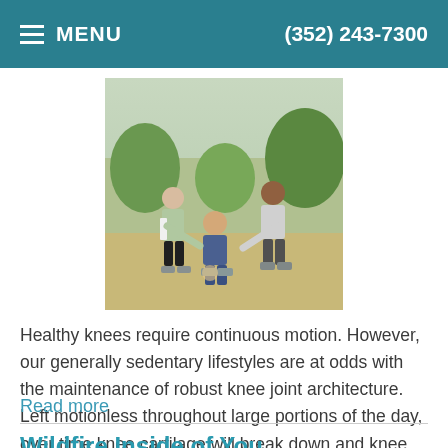MENU    (352) 243-7300
[Figure (photo): People outdoors, one person crouching and holding their knee while two others stand nearby, suggesting a knee injury scenario]
Healthy knees require continuous motion. However, our generally sedentary lifestyles are at odds with the maintenance of robust knee joint architecture. Left motionless throughout large portions of the day, over time knee cartilage will break down and knee ligaments will become lax. These chronic changes
Read more
Wildfire Inside of You